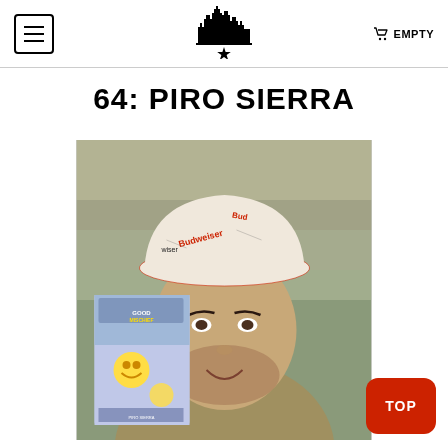EMPTY
64: PIRO SIERRA
[Figure (photo): Young man wearing a Budweiser-branded bucket hat, holding up a graphic novel or zine with illustrated cartoon characters on the cover. Background shows shelves with colorful items.]
TOP